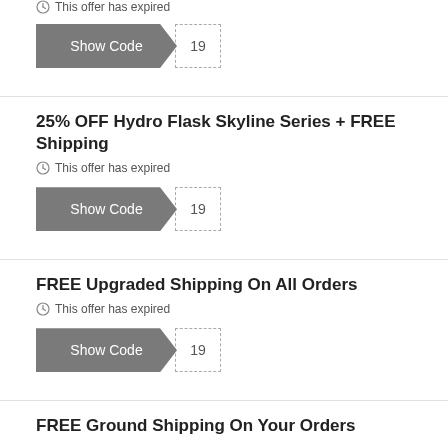This offer has expired
[Figure (other): Show Code button with dashed code area showing '19']
25% OFF Hydro Flask Skyline Series + FREE Shipping
This offer has expired
[Figure (other): Show Code button with dashed code area showing '19']
FREE Upgraded Shipping On All Orders
This offer has expired
[Figure (other): Show Code button with dashed code area showing '19']
FREE Ground Shipping On Your Orders